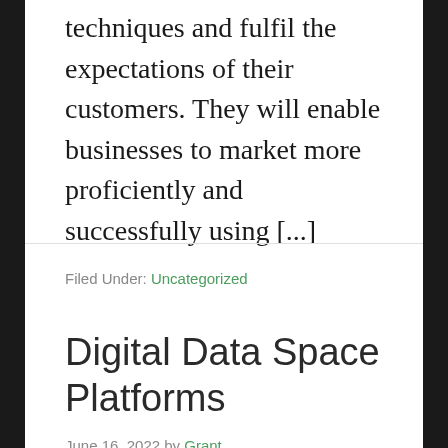techniques and fulfil the expectations of their customers. They will enable businesses to market more proficiently and successfully using [...]
Filed Under: Uncategorized
Digital Data Space Platforms
June 16, 2022 by Grant